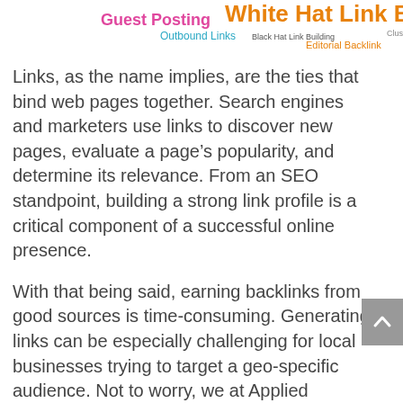[Figure (infographic): Word cloud showing SEO/link building terms: 'Guest Posting' in pink, 'White Hat Link Building' in large orange, 'Outbound Links' in teal, 'Black Hat Link Building' in small dark, 'Clusters' in small, 'Editorial Backlink' in orange]
Links, as the name implies, are the ties that bind web pages together. Search engines and marketers use links to discover new pages, evaluate a page’s popularity, and determine its relevance. From an SEO standpoint, building a strong link profile is a critical component of a successful online presence.
With that being said, earning backlinks from good sources is time-consuming. Generating links can be especially challenging for local businesses trying to target a geo-specific audience. Not to worry, we at Applied Interactive have some practical strategies to share; strategies proven to help businesses